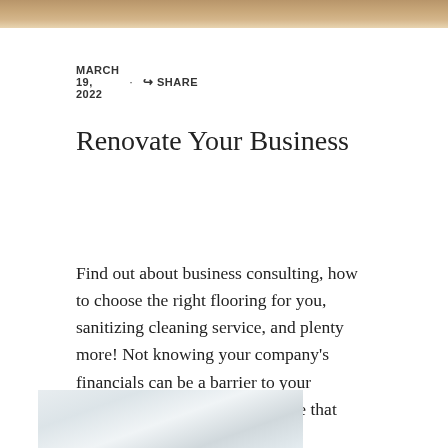[Figure (photo): Top portion of a room interior photo, cropped at top of page]
MARCH 19, 2022 · SHARE
Renovate Your Business
Find out about business consulting, how to choose the right flooring for you, sanitizing cleaning service, and plenty more! Not knowing your company's financials can be a barrier to your success. But it doesn't have to be that way. Let's hear more from Eric McGlothen, LLC. Think about the flooring in our homes. Is it [...]
Read More
WINDOWS
[Figure (photo): Interior room with large windows showing bright outdoor view, modern decor]